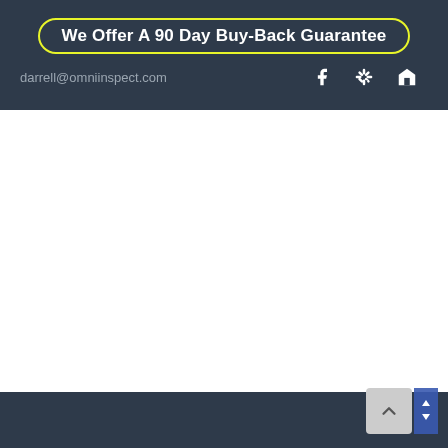We Offer A 90 Day Buy-Back Guarantee
darrell@omniinspect.com
[Figure (screenshot): White body area of webpage, mostly blank]